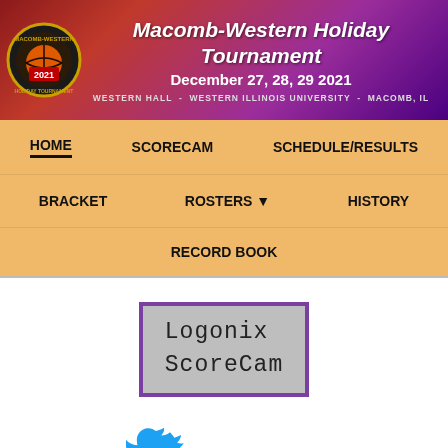Macomb-Western Holiday Tournament December 27, 28, 29 2021 Western Hall - Western Illinois University - Macomb, IL
HOME
SCORECAM
SCHEDULE/RESULTS
BRACKET
ROSTERS ▼
HISTORY
RECORD BOOK
[Figure (screenshot): Logonix ScoreCam display box with purple border and gray background showing text 'Logonix ScoreCam' in monospace font]
[Figure (logo): Twitter bird logo icon in blue followed by @MWHT text]